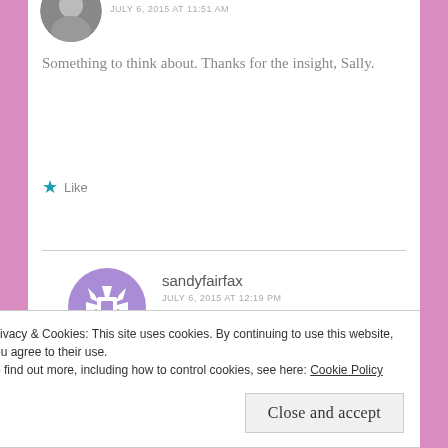[Figure (photo): Circular avatar photo of a person, cropped at top of page]
JULY 6, 2015 AT 11:51 AM
Something to think about. Thanks for the insight, Sally.
Like
[Figure (illustration): Circular purple geometric/snowflake pattern avatar for sandyfairfax]
sandyfairfax
JULY 6, 2015 AT 12:19 PM
Thanks for stopping by, Kathleen. Glad you
Privacy & Cookies: This site uses cookies. By continuing to use this website, you agree to their use.
To find out more, including how to control cookies, see here: Cookie Policy
Close and accept